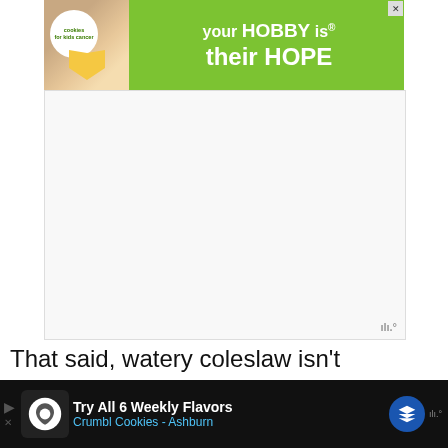[Figure (screenshot): Top advertisement banner: green background with 'cookies for kids cancer' logo and text 'your HOBBY is their HOPE']
[Figure (screenshot): White rectangular ad placeholder area with Wt logo in bottom right corner]
That said, watery coleslaw isn't spoiled (provided there aren't any other signs of spoilage). It doesn't look pretty, and the taste is so-so at best, but it's still okay to eat. It's up to you if you eat or discard wilted coleslaw.
[Figure (screenshot): Bottom advertisement banner: dark background with Crumbl Cookies ad - 'Try All 6 Weekly Flavors Crumbl Cookies - Ashburn']